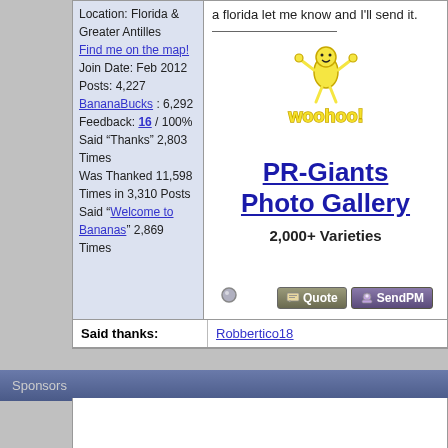Location: Florida & Greater Antilles Find me on the map! Join Date: Feb 2012 Posts: 4,227 BananaBucks : 6,292 Feedback: 16 / 100% Said "Thanks" 2,803 Times Was Thanked 11,598 Times in 3,310 Posts Said "Welcome to Bananas" 2,869 Times
a florida let me know and I'll send it.
[Figure (illustration): Woohoo banana cartoon mascot with text 'woohoo!']
PR-Giants Photo Gallery
2,000+ Varieties
Said thanks:
Robbertico18
Sponsors